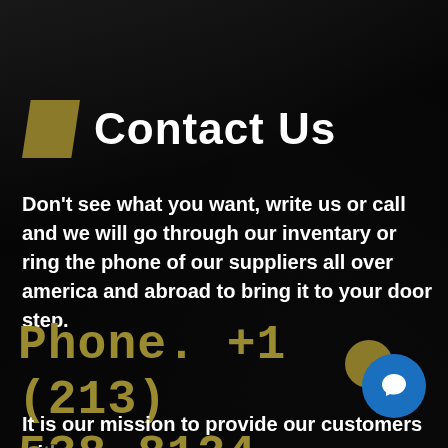Contact Us
Don't see what you want, write us or call and we will go through our inventary or ring the phone of our suppliers all over america and abroad to bring it to your door step.
Phone. +1 (213) 538-8124
It is our mission to provide our customers with quality products at the best prices, so we take